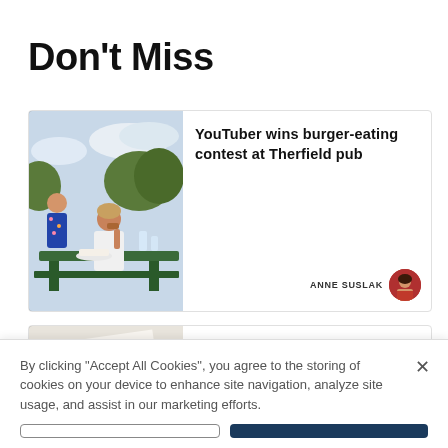Don't Miss
[Figure (photo): Person eating at outdoor pub table, burger-eating contest at Therfield pub]
YouTuber wins burger-eating contest at Therfield pub
ANNE SUSLAK
[Figure (photo): Examination paper close-up, partially visible text reading 'Examin...' and 'P...']
Students across Royston and South Cambs celebrate GCSE results
By clicking “Accept All Cookies”, you agree to the storing of cookies on your device to enhance site navigation, analyze site usage, and assist in our marketing efforts.